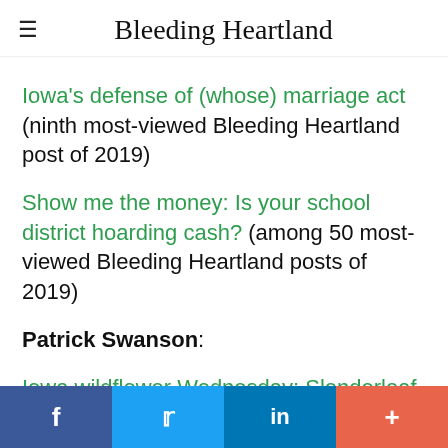Bleeding Heartland
Iowa's defense of (whose) marriage act (ninth most-viewed Bleeding Heartland post of 2019)
Show me the money: Is your school district hoarding cash? (among 50 most-viewed Bleeding Heartland posts of 2019)
Patrick Swanson:
Iowa wildflower Wednesday: Slenderleaf
f  Twitter  in  +